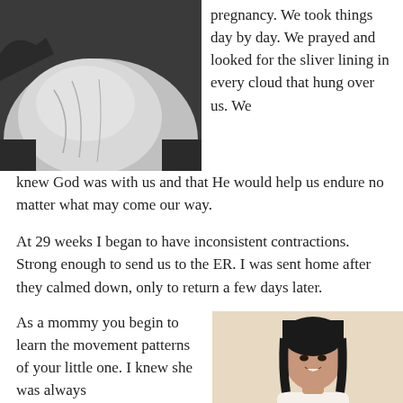[Figure (photo): Close-up photo of a pregnant belly wearing a grey shirt and black pants, shot from above]
pregnancy. We took things day by day. We prayed and looked for the sliver lining in every cloud that hung over us. We knew God was with us and that He would help us endure no matter what may come our way.
At 29 weeks I began to have inconsistent contractions. Strong enough to send us to the ER. I was sent home after they calmed down, only to return a few days later.
As a mommy you begin to learn the movement patterns of your little one. I knew she was always
[Figure (photo): Photo of a smiling dark-haired woman wearing a white floral top, standing against a beige wall]